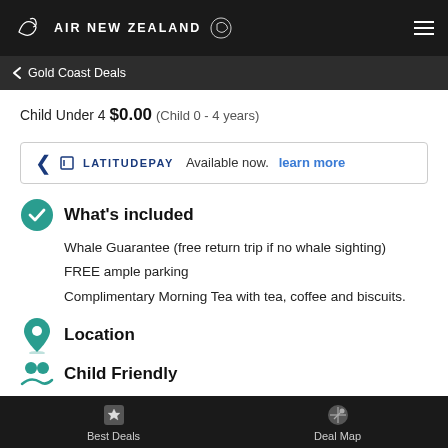AIR NEW ZEALAND
Gold Coast Deals
Child Under 4 $0.00 (Child 0 - 4 years)
LATITUDE PAY Available now. learn more
What's included
Whale Guarantee (free return trip if no whale sighting)
FREE ample parking
Complimentary Morning Tea with tea, coffee and biscuits.
Location
Child Friendly
Best Deals   Deal Map